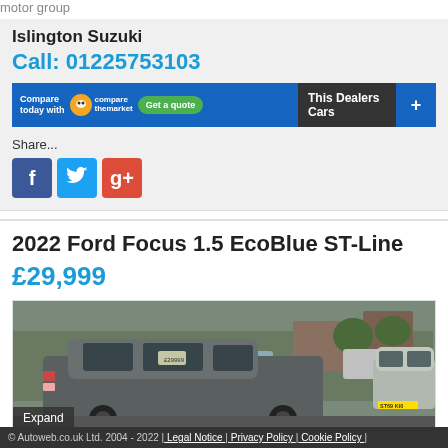motor group
Islington Suzuki
Call: 01225753103
[Figure (screenshot): Compare today with comparethemarket Get a quote banner, This Dealers Cars button with plus button]
Share...
[Figure (infographic): Social sharing icons: Facebook (blue), Twitter (light blue), Google+ (red)]
2022 Ford Focus 1.5 EcoBlue ST-Line
£29,999
[Figure (photo): Photo of a grey Ford Focus estate car in a car dealership forecourt with other cars visible in background]
Expand
© Autoweb.co.uk Ltd. 2004 - 2022 | Legal Notice | Privacy Policy | Cookie Policy |